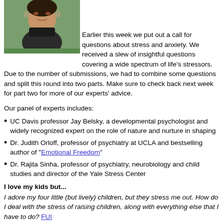[Figure (photo): A smiling woman with dark curly hair and large sunglasses, outdoors with green foliage in the background.]
Earlier this week we put out a call for questions about stress and anxiety. We received a slew of insightful questions covering a wide spectrum of life's stressors.
Due to the number of submissions, we had to combine some questions and split this round into two parts. Make sure to check back next week for part two for more of our experts' advice.
Our panel of experts includes:
UC Davis professor Jay Belsky, a developmental psychologist and widely recognized expert on the role of nature and nurture in shaping
Dr. Judith Orloff, professor of psychiatry at UCLA and bestselling author of "Emotional Freedom"
Dr. Rajita Sinha, professor of psychiatry, neurobiology and child studies and director of the Yale Stress Center
I love my kids but...
I adore my four little (but lively) children, but they stress me out. How do I deal with the stress of raising children, along with everything else that I have to do?